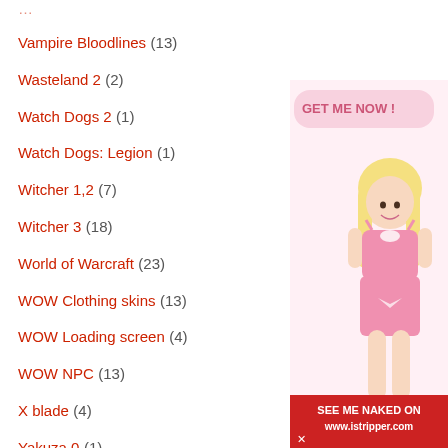Vampire Bloodlines (13)
Wasteland 2 (2)
Watch Dogs 2 (1)
Watch Dogs: Legion (1)
Witcher 1,2 (7)
Witcher 3 (18)
World of Warcraft (23)
WOW Clothing skins (13)
WOW Loading screen (4)
WOW NPC (13)
X blade (4)
Yakuza 0 (1)
Yakuza Kiwami 2 (1)
[Figure (photo): Advertisement banner showing a blonde woman in pink outfit with text 'GET ME NOW' and 'SEE ME NAKED ON www.istripper.com']